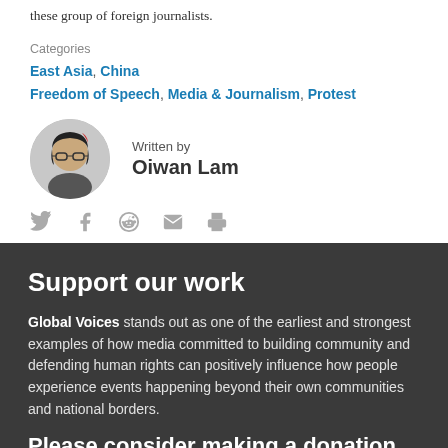these group of foreign journalists.
Categories
East Asia, China
Freedom of Speech, Media & Journalism, Protest
Written by Oiwan Lam
Twitter, Facebook, Reddit, Email, Print (social share icons)
Support our work
Global Voices stands out as one of the earliest and strongest examples of how media committed to building community and defending human rights can positively influence how people experience events happening beyond their own communities and national borders.
Please consider making a donation to help us